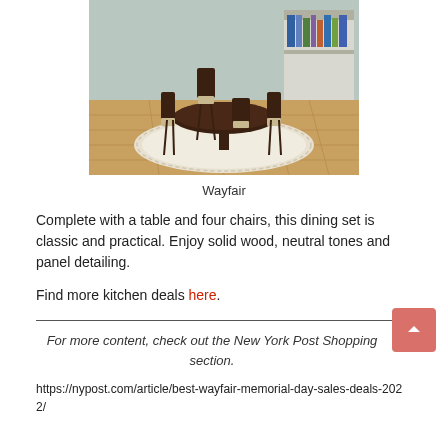[Figure (photo): A dining room set with a round dark wood table and four matching chairs on a circular beige/cream rug over hardwood flooring. A bookshelf is visible in the background.]
Wayfair
Complete with a table and four chairs, this dining set is classic and practical. Enjoy solid wood, neutral tones and panel detailing.
Find more kitchen deals here.
For more content, check out the New York Post Shopping section.
https://nypost.com/article/best-wayfair-memorial-day-sales-deals-2022/